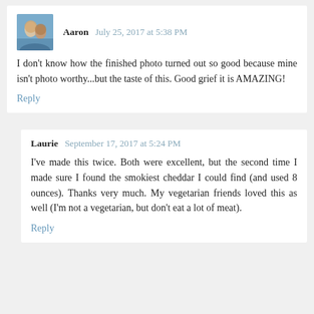Aaron  July 25, 2017 at 5:38 PM
I don't know how the finished photo turned out so good because mine isn't photo worthy...but the taste of this. Good grief it is AMAZING!
Reply
Laurie  September 17, 2017 at 5:24 PM
I've made this twice. Both were excellent, but the second time I made sure I found the smokiest cheddar I could find (and used 8 ounces). Thanks very much. My vegetarian friends loved this as well (I'm not a vegetarian, but don't eat a lot of meat).
Reply